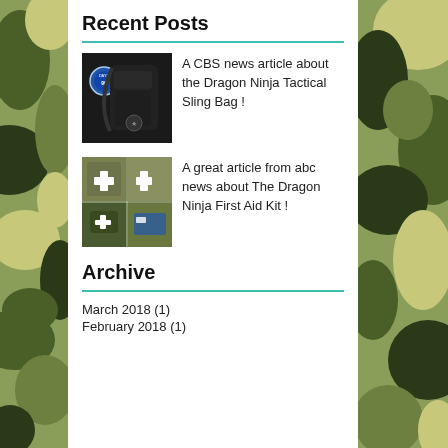Recent Posts
[Figure (photo): Black tactical sling bag with a badge logo, displayed against white background]
A CBS news article about the Dragon Ninja Tactical Sling Bag !
[Figure (photo): Collage of military first aid kit items and camouflage pouches in outdoor settings]
A great article from abc news about The Dragon Ninja First Aid Kit !
Archive
March 2018 (1)
February 2018 (1)